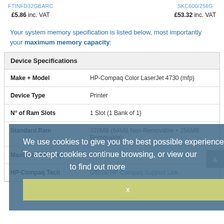FTINFD32GBARC    £5.86 inc. VAT
SKC600/256G    £53.32 inc. VAT
Your system memory specification is listed below, most importantly your maximum memory capacity:
| Device Specifications |  |
| --- | --- |
| Make + Model | HP-Compaq Color LaserJet 4730 (mfp) |
| Device Type | Printer |
| N° of Ram Slots | 1 Slot (1 Bank of 1) |
| Standard Ram | 320MB (64MB Non-Removable + 256MB Removable) |
| Maximum Memory | 512MB |
| HP-Compaq Tech | Official HP-Compaq Support Link |
We use cookies to give you the best possible experience. To accept cookies continue browsing, or view our [cookie policy] to find out more